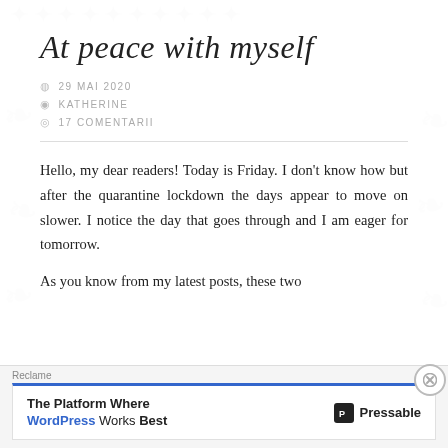At peace with myself
29 MAI 2020
KATHERINE
17 COMENTARII
Hello, my dear readers! Today is Friday. I don't know how but after the quarantine lockdown the days appear to move on slower. I notice the day that goes through and I am eager for tomorrow.
As you know from my latest posts, these two
Reclame
The Platform Where WordPress Works Best  Pressable